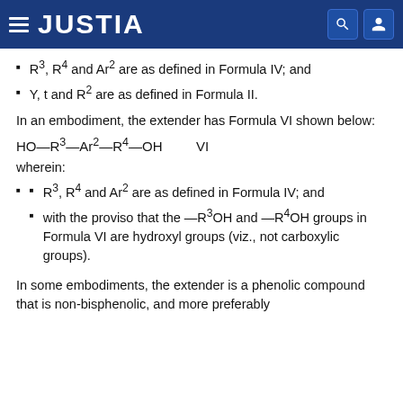JUSTIA
R3, R4 and Ar2 are as defined in Formula IV; and
Y, t and R2 are as defined in Formula II.
In an embodiment, the extender has Formula VI shown below:
wherein:
R3, R4 and Ar2 are as defined in Formula IV; and
with the proviso that the —R3OH and —R4OH groups in Formula VI are hydroxyl groups (viz., not carboxylic groups).
In some embodiments, the extender is a phenolic compound that is non-bisphenolic, and more preferably